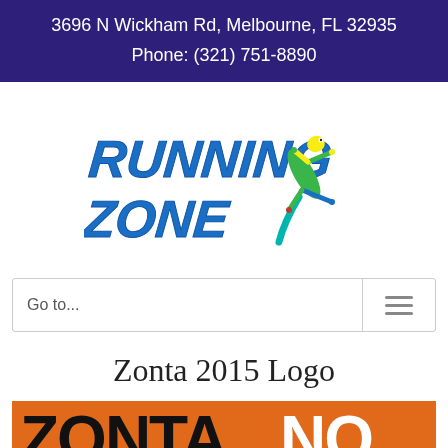3696 N Wickham Rd, Melbourne, FL 32935
Phone: (321) 751-8890
[Figure (logo): Running Zone logo with illustrated gecko/lizard mascot in blue italic text]
Go to...
Zonta 2015 Logo
[Figure (logo): Zonta Says No logo — large bold text on orange background reading ZONTA SAYS NO]